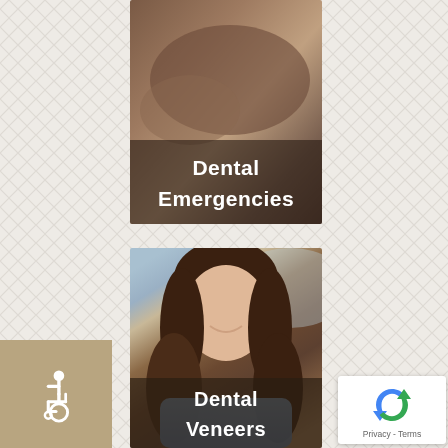[Figure (photo): Card showing a dental emergency scene (close-up of hands/patient) with overlay text 'Dental Emergencies']
[Figure (photo): Card showing a smiling young woman with long brown hair, wearing a blue top. Overlay text reads 'Dental Veneers']
[Figure (illustration): Tan/beige square badge with white wheelchair accessibility icon on the left side of the page]
[Figure (other): Google reCAPTCHA badge in bottom right corner showing reCAPTCHA logo and 'Privacy - Terms' text]